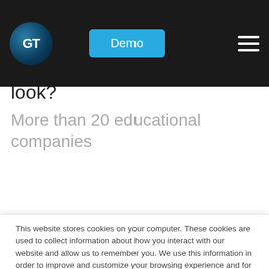[Figure (logo): GT circular logo with dark blue gradient and white GT text, Demo button in blue, hamburger menu icon on black navigation bar]
meaningful lessons and courseware with the technology. Why not take a look?
More than 20 educational companies
This website stores cookies on your computer. These cookies are used to collect information about how you interact with our website and allow us to remember you. We use this information in order to improve and customize your browsing experience and for analytics and metrics about our visitors both on this website and other media. To find out more about the cookies we use, see our Privacy Policy.
If you decline, your information won't be tracked when you visit this website. A single cookie will be used in your browser to remember your preference not to be tracked.